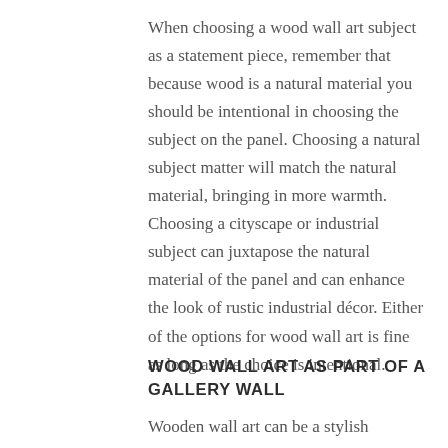When choosing a wood wall art subject as a statement piece, remember that because wood is a natural material you should be intentional in choosing the subject on the panel. Choosing a natural subject matter will match the natural material, bringing in more warmth. Choosing a cityscape or industrial subject can juxtapose the natural material of the panel and can enhance the look of rustic industrial décor. Either of the options for wood wall art is fine as long as the choice is intentional.
WOOD WALL ART AS PART OF A GALLERY WALL
Wooden wall art can be a stylish addition to a gallery wall. Gallery walls are formal groupings